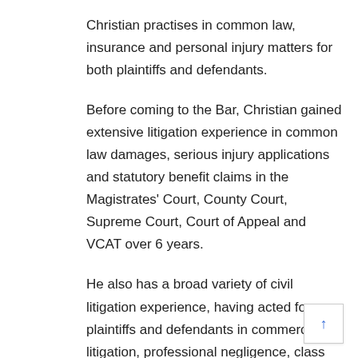Christian practises in common law, insurance and personal injury matters for both plaintiffs and defendants.
Before coming to the Bar, Christian gained extensive litigation experience in common law damages, serious injury applications and statutory benefit claims in the Magistrates' Court, County Court, Supreme Court, Court of Appeal and VCAT over 6 years.
He also has a broad variety of civil litigation experience, having acted for plaintiffs and defendants in commercial litigation, professional negligence, class action and employment law